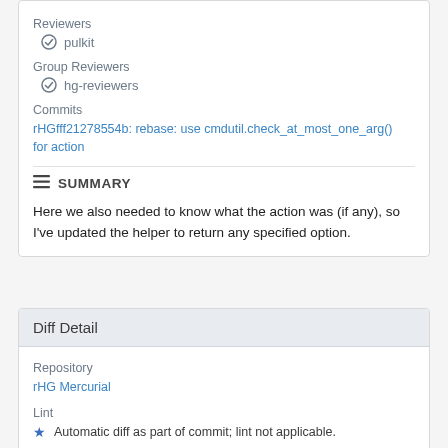Reviewers
pulkit
Group Reviewers
hg-reviewers
Commits
rHGfff21278554b: rebase: use cmdutil.check_at_most_one_arg() for action
SUMMARY
Here we also needed to know what the action was (if any), so I've updated the helper to return any specified option.
Diff Detail
Repository
rHG Mercurial
Lint
Automatic diff as part of commit; lint not applicable.